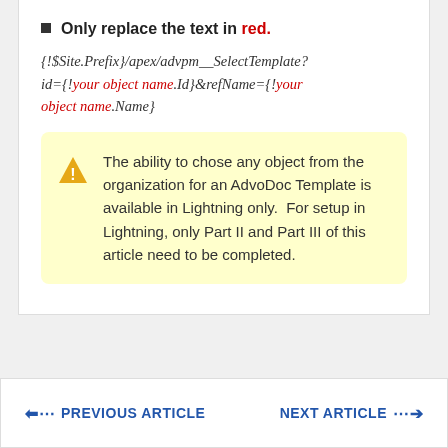Only replace the text in red.
{!$Site.Prefix}/apex/advpm__SelectTemplate?id={!your object name.Id}&refName={!your object name.Name}
The ability to chose any object from the organization for an AdvoDoc Template is available in Lightning only.  For setup in Lightning, only Part II and Part III of this article need to be completed.
PREVIOUS ARTICLE   NEXT ARTICLE